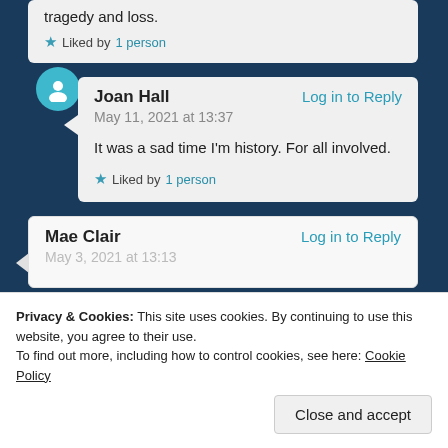tragedy and loss.
Liked by 1 person
Joan Hall
Log in to Reply
May 11, 2021 at 13:37
It was a sad time I'm history. For all involved.
Liked by 1 person
Mae Clair
Log in to Reply
May 3, 2021 at 13:13
Privacy & Cookies: This site uses cookies. By continuing to use this website, you agree to their use.
To find out more, including how to control cookies, see here: Cookie Policy
Close and accept